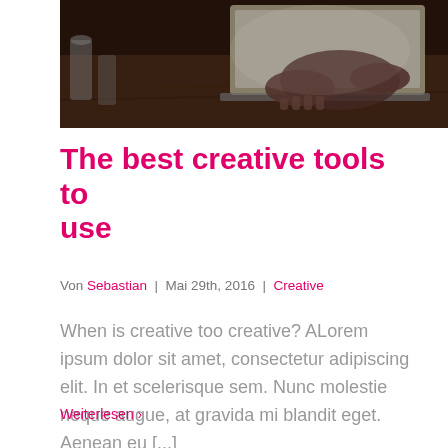[Figure (photo): Person typing on a laptop at a wooden desk, dark moody lighting, stationery items visible on the left]
The best creative tools to use
Von Sebastian | Mai 29th, 2016 | Creative
When is creative too creative? ALorem ipsum dolor sit amet, consectetur adipiscing elit. In et scelerisque sem. Nunc molestie neque augue, at gravida mi blandit eget. Aenean eu [...]
Weiterlesen >